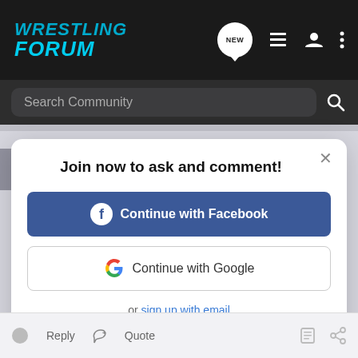Wrestling Forum
Search Community
Join now to ask and comment!
Continue with Facebook
Continue with Google
or sign up with email
Reply  Quote